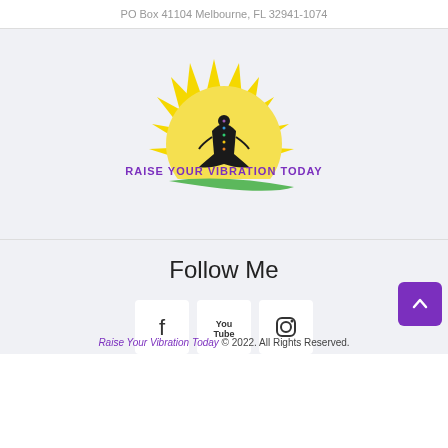PO Box 41104 Melbourne, FL 32941-1074
[Figure (logo): Raise Your Vibration Today logo: yellow sun with rays, meditating figure silhouette with chakra colors, green swoosh, purple text RAISE YOUR VIBRATION TODAY]
Follow Me
[Figure (other): Three social media icon buttons: Facebook, YouTube, Instagram]
Raise Your Vibration Today © 2022. All Rights Reserved.